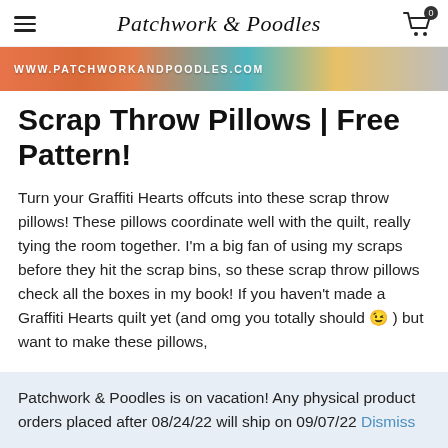Patchwork & Poodles
[Figure (photo): Website banner image showing www.patchworkandpoodles.com text over colorful fabric/quilt imagery in orange, teal, and yellow tones]
Scrap Throw Pillows | Free Pattern!
Turn your Graffiti Hearts offcuts into these scrap throw pillows! These pillows coordinate well with the quilt, really tying the room together. I'm a big fan of using my scraps before they hit the scrap bins, so these scrap throw pillows check all the boxes in my book! If you haven't made a Graffiti Hearts quilt yet (and omg you totally should 😉 ) but want to make these pillows,
Patchwork & Poodles is on vacation! Any physical product orders placed after 08/24/22 will ship on 09/07/22 Dismiss